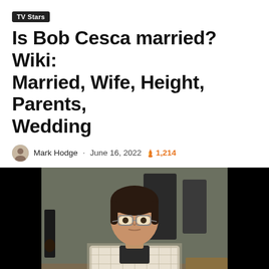TV Stars
Is Bob Cesca married? Wiki: Married, Wife, Height, Parents, Wedding
Mark Hodge · June 16, 2022 🔥 1,214
[Figure (photo): Photo of Bob Cesca, a man with dark hair and glasses wearing a plaid short-sleeve shirt, sitting in front of a microphone against a dark background. Black bars on left and right of the image.]